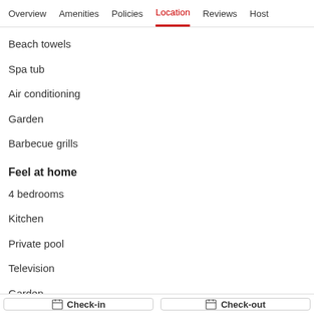Overview   Amenities   Policies   Location   Reviews   Host
Beach towels
Spa tub
Air conditioning
Garden
Barbecue grills
Feel at home
4 bedrooms
Kitchen
Private pool
Television
Garden
Fireplace
Check-in
Check-out